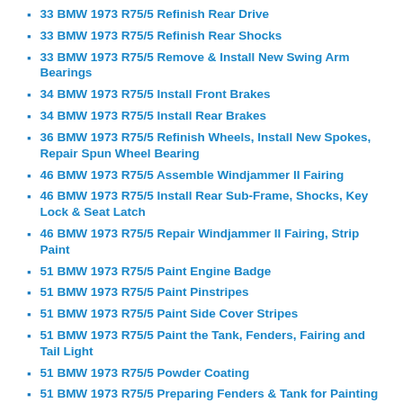33 BMW 1973 R75/5 Refinish Rear Drive
33 BMW 1973 R75/5 Refinish Rear Shocks
33 BMW 1973 R75/5 Remove & Install New Swing Arm Bearings
34 BMW 1973 R75/5 Install Front Brakes
34 BMW 1973 R75/5 Install Rear Brakes
36 BMW 1973 R75/5 Refinish Wheels, Install New Spokes, Repair Spun Wheel Bearing
46 BMW 1973 R75/5 Assemble Windjammer II Fairing
46 BMW 1973 R75/5 Install Rear Sub-Frame, Shocks, Key Lock & Seat Latch
46 BMW 1973 R75/5 Repair Windjammer II Fairing, Strip Paint
51 BMW 1973 R75/5 Paint Engine Badge
51 BMW 1973 R75/5 Paint Pinstripes
51 BMW 1973 R75/5 Paint Side Cover Stripes
51 BMW 1973 R75/5 Paint the Tank, Fenders, Fairing and Tail Light
51 BMW 1973 R75/5 Powder Coating
51 BMW 1973 R75/5 Preparing Fenders & Tank for Painting